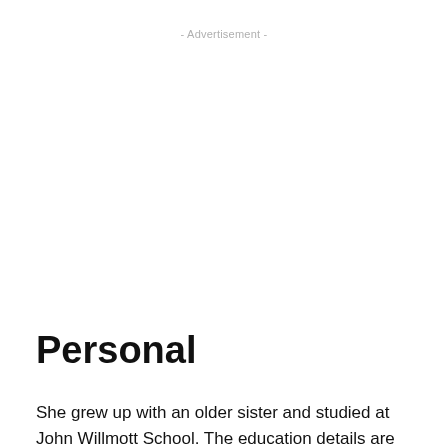- Advertisement -
Personal
She grew up with an older sister and studied at John Willmott School. The education details are not available at